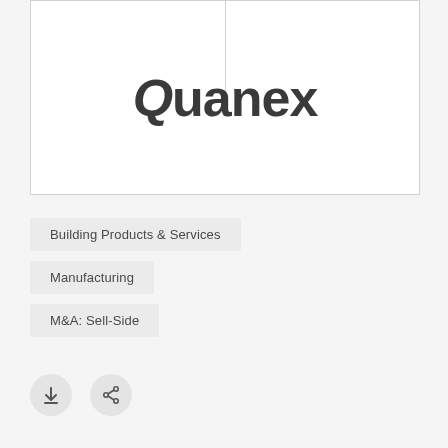[Figure (logo): Quanex company logo — bold dark grey wordmark with stylized Q on white background with border]
Building Products & Services
Manufacturing
M&A: Sell-Side